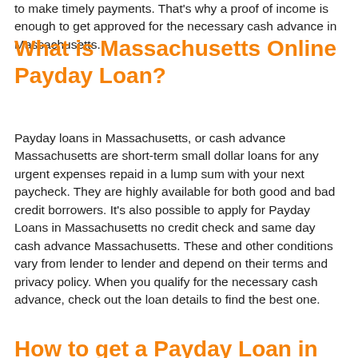to make timely payments. That's why a proof of income is enough to get approved for the necessary cash advance in Massachusetts.
What is Massachusetts Online Payday Loan?
Payday loans in Massachusetts, or cash advance Massachusetts are short-term small dollar loans for any urgent expenses repaid in a lump sum with your next paycheck. They are highly available for both good and bad credit borrowers. It's also possible to apply for Payday Loans in Massachusetts no credit check and same day cash advance Massachusetts. These and other conditions vary from lender to lender and depend on their terms and privacy policy. When you qualify for the necessary cash advance, check out the loan details to find the best one.
How to get a Payday Loan in